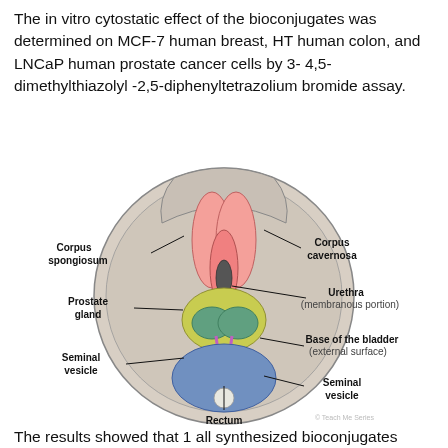The in vitro cytostatic effect of the bioconjugates was determined on MCF-7 human breast, HT human colon, and LNCaP human prostate cancer cells by 3- 4,5-dimethylthiazolyl -2,5-diphenyltetrazolium bromide assay.
[Figure (illustration): Anatomical cross-sectional diagram of male pelvic organs viewed from below, showing labeled structures: Corpus spongiosum (upper left), Corpus cavernosa (upper right), Prostate gland (left), Urethra membranous portion (right), Seminal vesicle (lower left, two labels), Base of the bladder external surface (lower right), Rectum (bottom center). The illustration shows colored anatomical structures including pink erectile tissue, yellow-green gland tissue, blue rectum, and teal seminal vesicle, with black leader lines pointing to labels.]
The results showed that 1 all synthesized bioconjugates